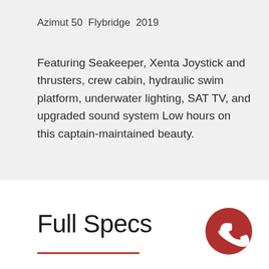Azimut 50  Flybridge  2019
Featuring Seakeeper, Xenta Joystick and thrusters, crew cabin, hydraulic swim platform, underwater lighting, SAT TV, and upgraded sound system Low hours on this captain-maintained beauty.
Full Specs
[Figure (other): Red circular phone/call button icon in bottom right corner]